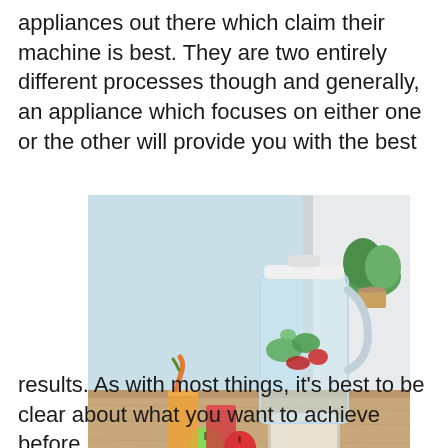appliances out there which claim their machine is best. They are two entirely different processes though and generally, an appliance which focuses on either one or the other will provide you with the best
[Figure (photo): A modern silver/white blender on a wooden countertop with a light blue wall background. The blender jar contains green leaves and red berries. In front of the blender are two glasses of juice (orange and red), a white plate with green apple, red apple, and kiwi slices, and a small plate with a pastry/donut. A green potted plant is visible in the background right.]
results. As with most things, it’s best to be clear about what you want to achieve before